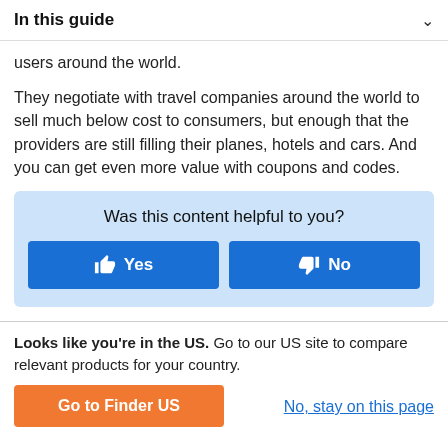In this guide
users around the world.
They negotiate with travel companies around the world to sell much below cost to consumers, but enough that the providers are still filling their planes, hotels and cars. And you can get even more value with coupons and codes.
Was this content helpful to you?
Yes
No
Looks like you're in the US. Go to our US site to compare relevant products for your country.
Go to Finder US
No, stay on this page